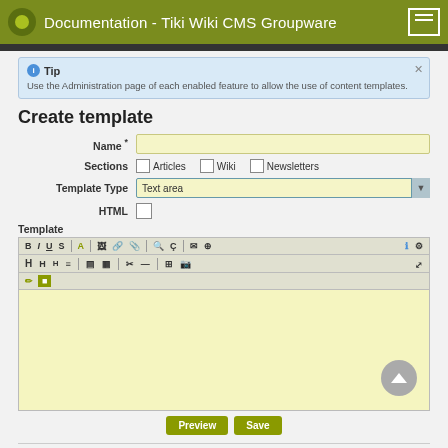Documentation - Tiki Wiki CMS Groupware
Tip
Use the Administration page of each enabled feature to allow the use of content templates.
Create template
Name *
Sections  Articles  Wiki  Newsletters
Template Type  Text area
HTML
Template
[Figure (screenshot): Rich text editor toolbar with formatting buttons (B, I, U, S, A, image, link, etc.) and a large yellow text area editor field]
Preview  Save
Templates